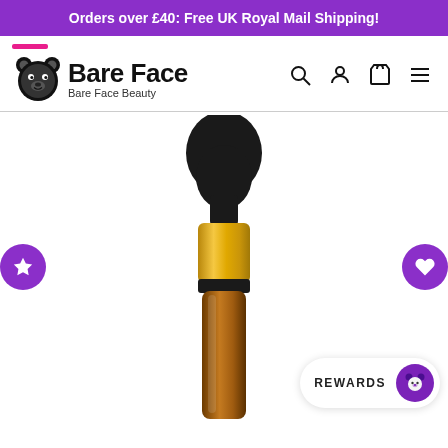Orders over £40: Free UK Royal Mail Shipping!
[Figure (logo): Bare Face Beauty logo with bear icon, pink accent line, bold black Bare Face text and subtitle Bare Face Beauty]
[Figure (photo): Close-up of a dropper bottle with black rubber bulb top, gold and black metal collar, on white background. Purple circular navigation buttons on left (star) and right (heart). Rewards widget in bottom right corner.]